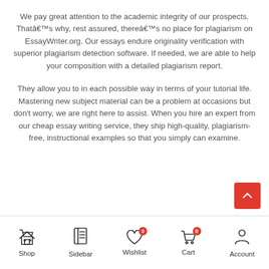We pay great attention to the academic integrity of our prospects. That's why, rest assured, there's no place for plagiarism on EssayWriter.org. Our essays endure originality verification with superior plagiarism detection software. If needed, we are able to help your composition with a detailed plagiarism report.
They allow you to in each possible way in terms of your tutorial life. Mastering new subject material can be a problem at occasions but don't worry, we are right here to assist. When you hire an expert from our cheap essay writing service, they ship high-quality, plagiarism-free, instructional examples so that you simply can examine.
Shop | Sidebar | Wishlist (0) | Cart (0) | Account